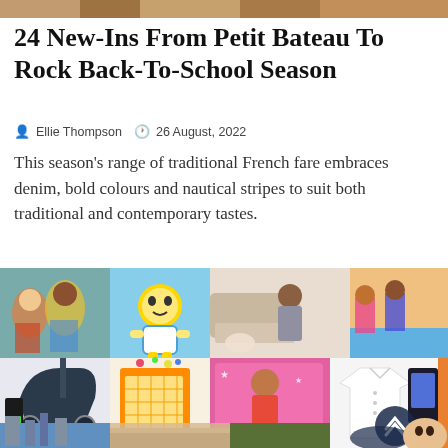[Figure (photo): Horizontal strip photo at the very top of the page]
24 New-Ins From Petit Bateau To Rock Back-To-School Season
Ellie Thompson   26 August, 2022
This season's range of traditional French fare embraces denim, bold colours and nautical stripes to suit both traditional and contemporary tastes.
[Figure (photo): Collage of multiple children's product and lifestyle images including clothing, toys, strollers, and children]